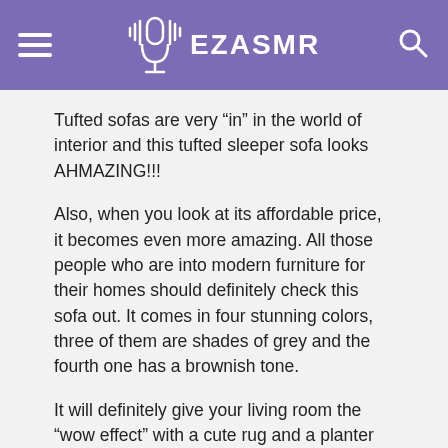EZASMR
Tufted sofas are very “in” in the world of interior and this tufted sleeper sofa looks AHMAZING!!!
Also, when you look at its affordable price, it becomes even more amazing. All those people who are into modern furniture for their homes should definitely check this sofa out. It comes in four stunning colors, three of them are shades of grey and the fourth one has a brownish tone.
It will definitely give your living room the “wow effect” with a cute rug and a planter on the side. Your friends and family will surely be